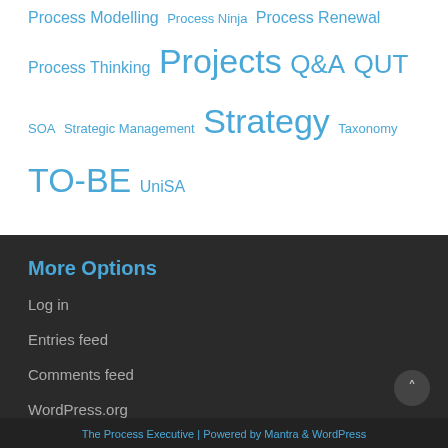Process Modelling  Process Ninja  Process Renewal  Process Thinking  Projects  Q&A  QUT  SOA  Strategic Management  Strategy  Taxonomy  TO-BE  UniSA
More Options
Log in
Entries feed
Comments feed
WordPress.org
The Process Executive | Powered by Mantra & WordPress